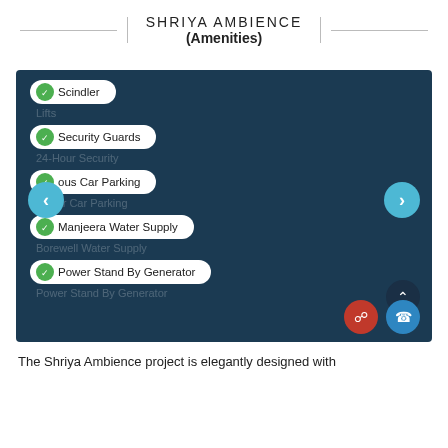SHRIYA AMBIENCE
(Amenities)
[Figure (screenshot): Amenities panel with dark blue background listing: Scindler (elevator), Security Guards, Spacious Car Parking, Manjeera Water Supply, Power Stand By Generator. Navigation arrows on left and right. Scroll-to-top, chat and call buttons visible.]
The Shriya Ambience project is elegantly designed with